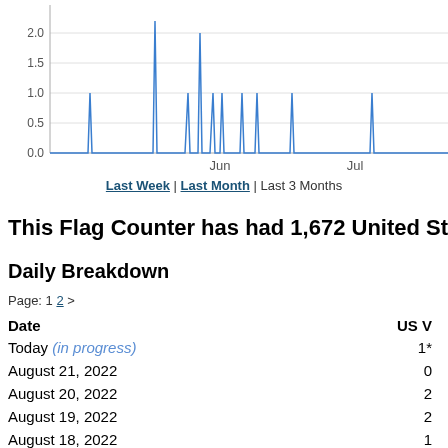[Figure (line-chart): Line chart showing daily US visitor counts over approximately 3 months. Peaks around 2.2 near early June, peaks of 2.0 and 1.0 near mid-June, spikes of 1.0 scattered through June-July, and a spike of 1.0 in late July. Y-axis from 0.0 to 2.0+ with gridlines at 0.5, 1.0, 1.5, 2.0.]
Last Week | Last Month | Last 3 Months
This Flag Counter has had 1,672 United States vis...
Daily Breakdown
Page: 1 2 >
| Date | US V |
| --- | --- |
| Today (in progress) | 1* |
| August 21, 2022 | 0 |
| August 20, 2022 | 2 |
| August 19, 2022 | 2 |
| August 18, 2022 | 1 |
| August 17, 2022 | 1 |
| August 16, 2022 | 1 |
| August 15, 2022 | 0 |
| August 14, 2022 | 0 |